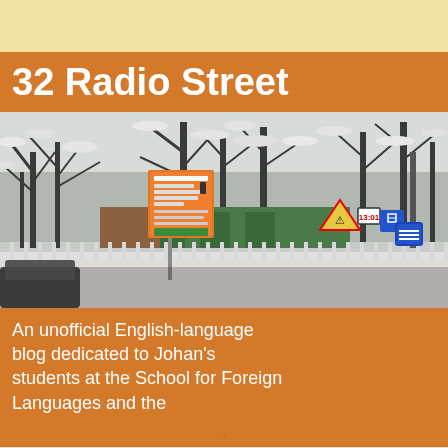32 Radio Street
[Figure (photo): A snowy winter street scene with trees covered in snow, Russian road signs including pedestrian crossing signs, an orange bus stop sign with Cyrillic text, a metal fence, and a green building in the background.]
An unofficial English-language blog dedicated to Johan's students at the School for Foreign Languages and the
Wednesday, October 7, 2015